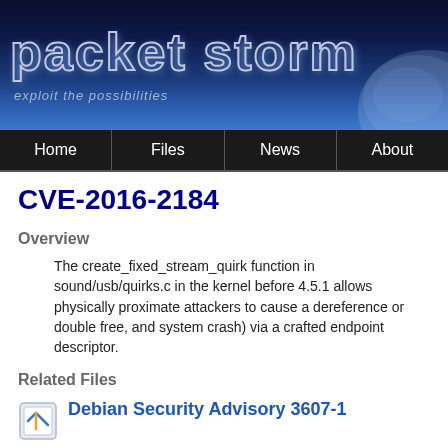[Figure (logo): Packet Storm Security banner with logo text 'packet storm' and tagline 'exploit the possibilities' on dark blue gradient background with globe/cloud imagery]
Home | Files | News | About
CVE-2016-2184
Overview
The create_fixed_stream_quirk function in sound/usb/quirks.c in the kernel before 4.5.1 allows physically proximate attackers to cause a dereference or double free, and system crash) via a crafted endpoint descriptor.
Related Files
Debian Security Advisory 3607-1
Authored by Debian | Site debian.org
Debian Linux Security Advisory 3607-1 - Several vulnerabilities have been discovered that lead to a privilege escalation, denial of service or information leaks.